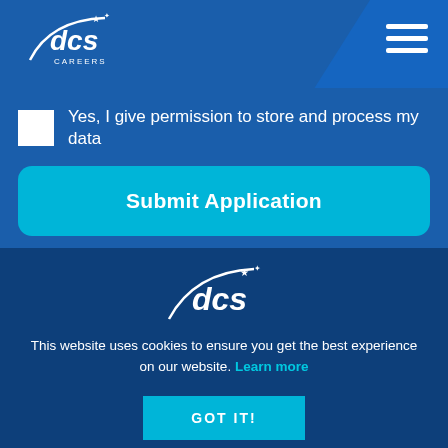[Figure (logo): DCS Careers logo in white on blue header bar]
[Figure (illustration): Hamburger menu icon (three white horizontal lines) in top right corner]
Yes, I give permission to store and process my data
Submit Application
[Figure (logo): DCS logo in white on dark blue footer background]
This website uses cookies to ensure you get the best experience on our website. Learn more
GOT IT!